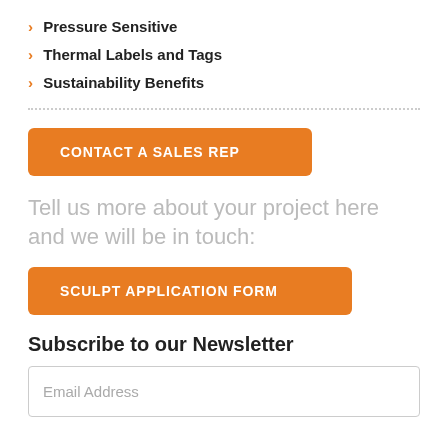› Pressure Sensitive
› Thermal Labels and Tags
› Sustainability Benefits
CONTACT A SALES REP
Tell us more about your project here and we will be in touch:
SCULPT APPLICATION FORM
Subscribe to our Newsletter
Email Address